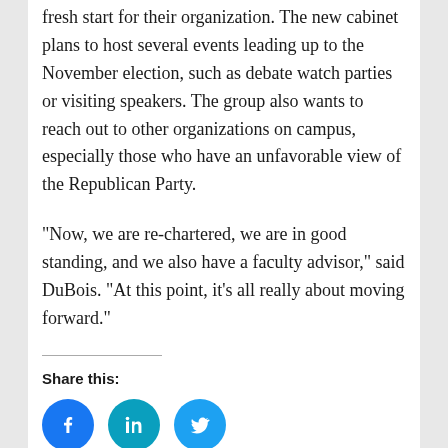fresh start for their organization. The new cabinet plans to host several events leading up to the November election, such as debate watch parties or visiting speakers. The group also wants to reach out to other organizations on campus, especially those who have an unfavorable view of the Republican Party.
“Now, we are re-chartered, we are in good standing, and we also have a faculty advisor,” said DuBois. “At this point, it’s all really about moving forward.”
Share this: